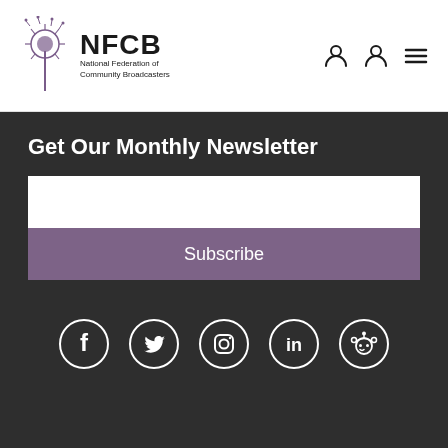[Figure (logo): NFCB National Federation of Community Broadcasters logo with dandelion icon]
Get Our Monthly Newsletter
[Figure (screenshot): Email input field (white rectangle)]
Subscribe
[Figure (infographic): Social media icons: Facebook, Twitter, Instagram, LinkedIn, Reddit — white outlines on dark background]